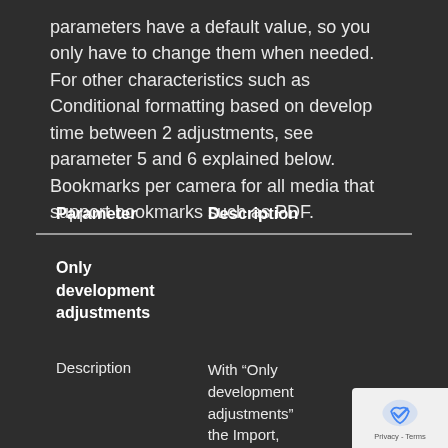parameters have a default value, so you only have to change them when needed. For other characteristics such as Conditional formatting based on develop time between 2 adjustments, see parameter 5 and 6 explained below. Bookmarks per camera for all media that support bookmarks such as PDF.
| Parameter | Description |
| --- | --- |
| Only development adjustments |  |
| Description | With “Only development adjustments” the Import, Exports, Publish, Reset |